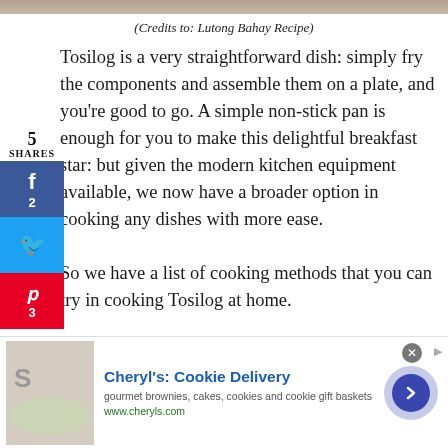[Figure (photo): Top portion of a food photo (Tosilog dish), partially visible at top of page]
(Credits to: Lutong Bahay Recipe)
Tosilog is a very straightforward dish: simply fry the components and assemble them on a plate, and you're good to go. A simple non-stick pan is enough for you to make this delightful breakfast star: but given the modern kitchen equipment available, we now have a broader option in cooking any dishes with more ease.

So we have a list of cooking methods that you can try in cooking Tosilog at home.
Stovetop
[Figure (screenshot): Advertisement banner for Cheryl's Cookie Delivery — gourmet brownies, cakes, cookies and cookie gift baskets, www.cheryls.com]